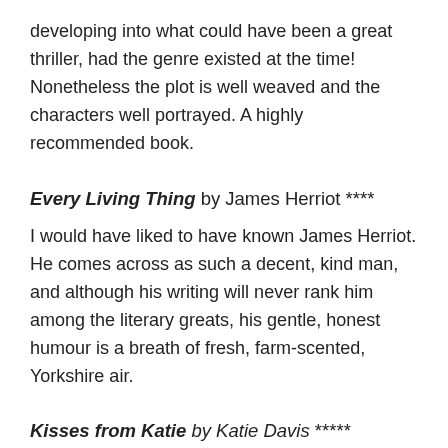developing into what could have been a great thriller, had the genre existed at the time! Nonetheless the plot is well weaved and the characters well portrayed. A highly recommended book.
Every Living Thing by James Herriot ****
I would have liked to have known James Herriot. He comes across as such a decent, kind man, and although his writing will never rank him among the literary greats, his gentle, honest humour is a breath of fresh, farm-scented, Yorkshire air.
Kisses from Katie by Katie Davis *****